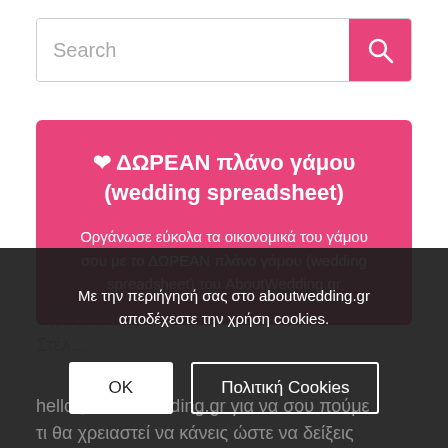[Figure (screenshot): Search bar with pink search button containing a magnifying glass icon]
❤ ΔΩΡΕΑΝ πλάνο γάμου (wedding spreadsheet)
Οργάνωσε εύκολα τα οικονομικά του γάμου σου με το ΔΩΡΕΑΝ πλάνο γάμου (wedding spreadsheet) του AboutWedding.gr
Με την περιήγησή σας στο aboutwedding.gr αποδέχεστε την χρήση cookies.
OK    Πολιτική Cookies
hello@aboutwedding.gr για να σου πούμε τι θα χρειαστεί να κάνεις ώστε να δείξεις